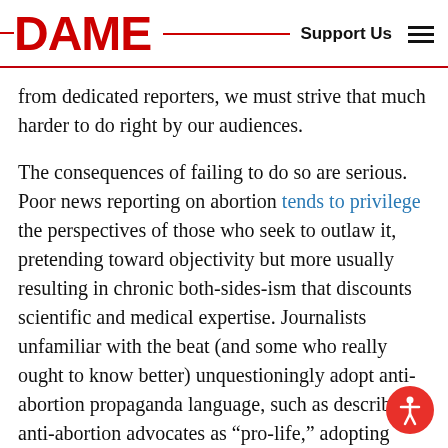DAME  Support Us
from dedicated reporters, we must strive that much harder to do right by our audiences.
The consequences of failing to do so are serious. Poor news reporting on abortion tends to privilege the perspectives of those who seek to outlaw it, pretending toward objectivity but more usually resulting in chronic both-sides-ism that discounts scientific and medical expertise. Journalists unfamiliar with the beat (and some who really ought to know better) unquestioningly adopt anti-abortion propaganda language, such as describing anti-abortion advocates as “pro-life,” adopting language like “heartbeat bill” in lieu of more accurate